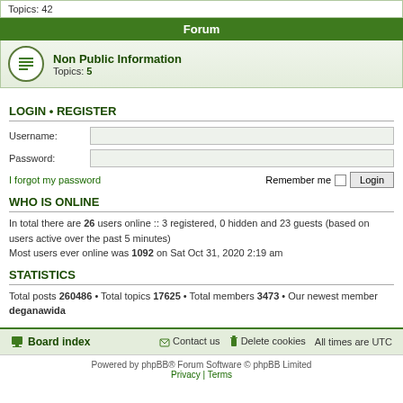Topics: 42
Forum
Non Public Information
Topics: 5
LOGIN • REGISTER
Username:
Password:
I forgot my password    Remember me  Login
WHO IS ONLINE
In total there are 26 users online :: 3 registered, 0 hidden and 23 guests (based on users active over the past 5 minutes)
Most users ever online was 1092 on Sat Oct 31, 2020 2:19 am
STATISTICS
Total posts 260486 • Total topics 17625 • Total members 3473 • Our newest member deganawida
Board index   Contact us   Delete cookies   All times are UTC
Powered by phpBB® Forum Software © phpBB Limited
Privacy | Terms